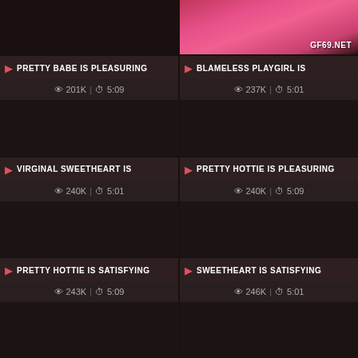[Figure (screenshot): Dark thumbnail placeholder (left top)]
[Figure (photo): Pink-themed photo thumbnail with GF69.NET watermark]
PRETTY BABE IS PLEASURING
201K | 5:09
BLAMELESS PLAYGIRL IS
237K | 5:01
[Figure (screenshot): Dark thumbnail placeholder]
[Figure (screenshot): Dark thumbnail placeholder]
VIRGINAL SWEETHEART IS
240K | 5:01
PRETTY HOTTIE IS PLEASURING
240K | 5:09
[Figure (screenshot): Dark thumbnail placeholder]
[Figure (screenshot): Dark thumbnail placeholder]
PRETTY HOTTIE IS SATISFYING
243K | 5:09
SWEETHEART IS SATISFYING
246K | 5:01